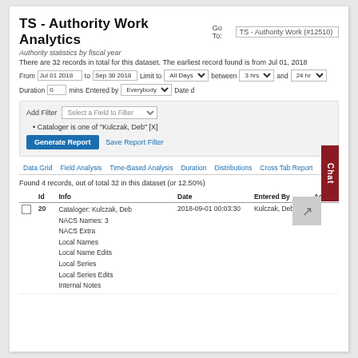TS - Authority Work Analytics
Go To: TS - Authority Work (#12510)
Authority statistics by fiscal year
There are 32 records in total for this dataset. The earliest record found is from Jul 01, 2018
From Jul 01 2018 to Sep 30 2018 Limit to All Days between 3 hrs and 24 hr Duration 0 mins Entered by Everybody Date d
Add Filter: Select a Field to Filter
• Cataloger is one of "Kulczak, Deb" [X]
Generate Report  Save Report Filter
Data Grid  Field Analysis  Time-Based Analysis  Duration  Distributions  Cross Tab Report  Trends  Export Data  Saved Repo
Found 4 records, out of total 32 in this dataset (or 12.50%)
|  | Id | Info | Date | Entered By | Action |
| --- | --- | --- | --- | --- | --- |
| ☐ | 20 | Cataloger: Kulczak, Deb
NACS Names: 3
NACS Extra
Local Names
Local Name Edits
Local Series
Local Series Edits
Internal Notes | 2018-09-01 00:03:30 | Kulczak, Deb | ☑ |